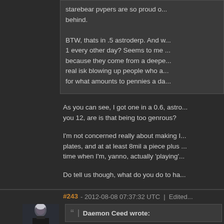starebear pvpers are so proud of... behind. BTW, thats in .5 astroderp. And w... 1 every other day? Seems to me... because they come from a deepe... real isk blowing up people who ac... for what amounts to pennies a da...
As you can see, I got one in a 0.6, astro... you 12, are is that being too genrous?
I'm not concerned really about making I... plates, and at at least 8mil a piece plus... time when I'm, yanno, actually 'playing'...
Do tell us though, what do you do to ha...
#243 - 2012-08-08 07:37:32 UTC  |  Edited...
[Figure (photo): Avatar portrait of a character with white/silver hair against a dark background]
Daemon Ceed wrote: